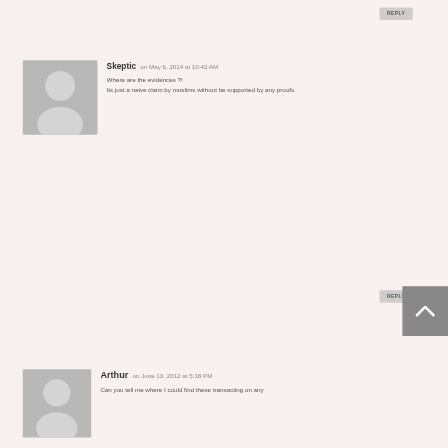REPLY
Skeptic on May 6, 2014 at 10:42 AM
Where are the evidences ?!
Its just a naive claim by muslims without be supported by any proofs.
REPLY
Arthur on June 13, 2012 at 5:18 PM
Can you tell me where I could find these transacting on any